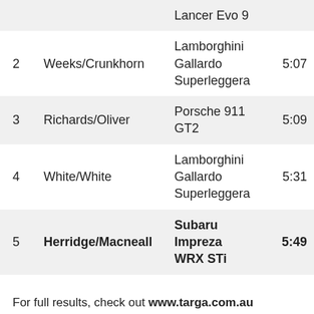| # | Driver | Car | Time |
| --- | --- | --- | --- |
|  |  | Lancer Evo 9 |  |
| 2 | Weeks/Crunkhorn | Lamborghini Gallardo Superleggera | 5:07 |
| 3 | Richards/Oliver | Porsche 911 GT2 | 5:09 |
| 4 | White/White | Lamborghini Gallardo Superleggera | 5:31 |
| 5 | Herridge/Macneall | Subaru Impreza WRX STi | 5:49 |
For full results, check out www.targa.com.au